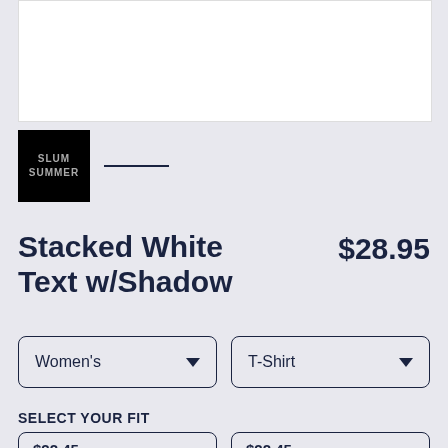[Figure (photo): White product image area (shirt preview)]
[Figure (thumbnail): Small black square thumbnail with 'SLUM SUMMER' text logo, followed by a dark underline indicator]
Stacked White Text w/Shadow
$28.95
Women's
T-Shirt
SELECT YOUR FIT
$22.45 Fitted
$22.45 Regular Unisex